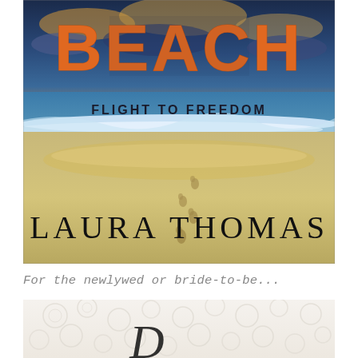[Figure (illustration): Book cover for 'Beach: Flight to Freedom' by Laura Thomas. Shows a beach scene with dramatic cloudy sunset sky, ocean waves, wet sand with footprints leading toward the viewer, and the title 'BEACH' in large distressed orange block letters at the top, subtitle 'FLIGHT TO FREEDOM' in bold sans-serif text over the water, and author name 'LAURA THOMAS' in large black sans-serif letters at the bottom of the cover.]
For the newlywed or bride-to-be...
[Figure (photo): Partial view of white wedding lace fabric with floral pattern and a calligraphic letter visible at the bottom, suggesting a wedding-themed book or item.]